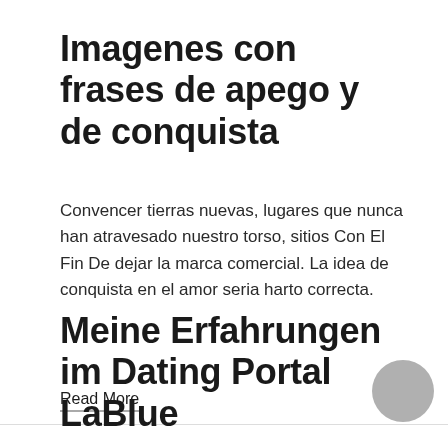Imagenes con frases de apego y de conquista
Convencer tierras nuevas, lugares que nunca han atravesado nuestro torso, sitios Con El Fin De dejar la marca comercial. La idea de conquista en el amor seria harto correcta.
Read More
Meine Erfahrungen im Dating Portal LaBlue